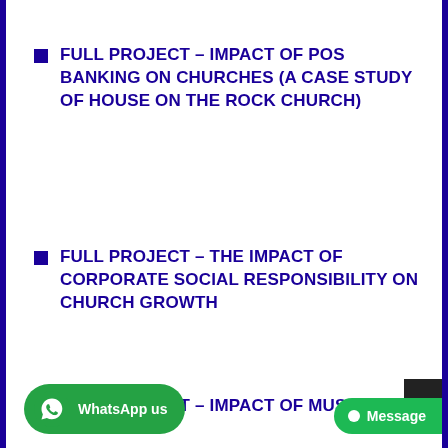FULL PROJECT – IMPACT OF POS BANKING ON CHURCHES (A CASE STUDY OF HOUSE ON THE ROCK CHURCH)
FULL PROJECT – THE IMPACT OF CORPORATE SOCIAL RESPONSIBILITY ON CHURCH GROWTH
FULL PROJECT – IMPACT OF MUSIC ON THE